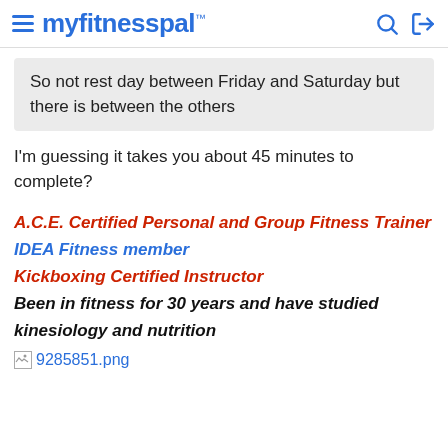myfitnesspal
So not rest day between Friday and Saturday but there is between the others
I'm guessing it takes you about 45 minutes to complete?
A.C.E. Certified Personal and Group Fitness Trainer
IDEA Fitness member
Kickboxing Certified Instructor
Been in fitness for 30 years and have studied kinesiology and nutrition
[Figure (other): Broken image link: 9285851.png]